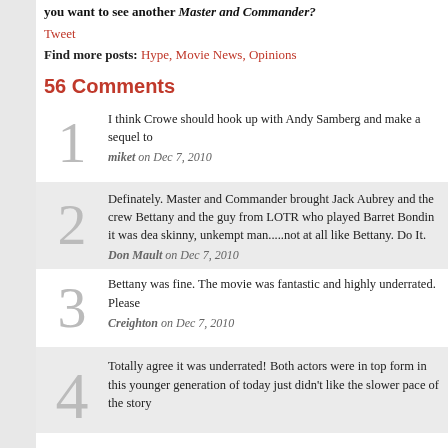you want to see another Master and Commander?
Tweet
Find more posts: Hype, Movie News, Opinions
56 Comments
1. I think Crowe should hook up with Andy Samberg and make a sequel to — miket on Dec 7, 2010
2. Definately. Master and Commander brought Jack Aubrey and the crew Bettany and the guy from LOTR who played Barret Bondin it was dea skinny, unkempt man.....not at all like Bettany. Do It. — Don Mault on Dec 7, 2010
3. Bettany was fine. The movie was fantastic and highly underrated. Please — Creighton on Dec 7, 2010
4. Totally agree it was underrated! Both actors were in top form in this younger generation of today just didn't like the slower pace of the story